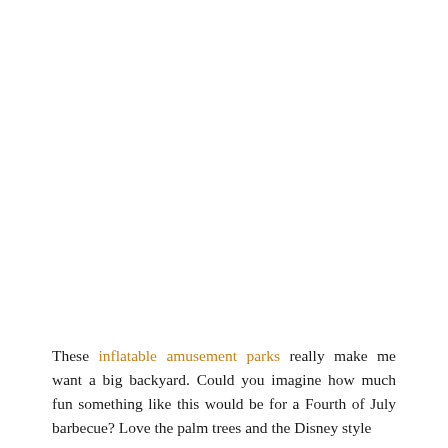These inflatable amusement parks really make me want a big backyard. Could you imagine how much fun something like this would be for a Fourth of July barbecue? Love the palm trees and the Disney style